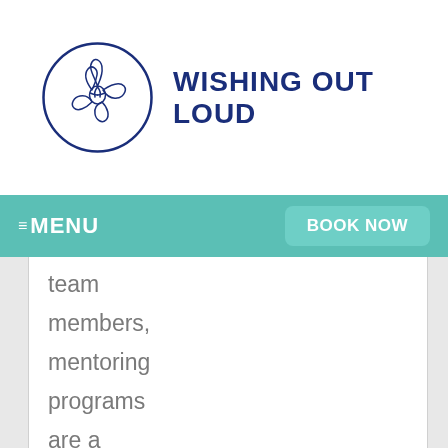[Figure (logo): Wishing Out Loud logo: a magnolia flower inside a circle, drawn in dark navy blue outline style, next to the text WISHING OUT LOUD in bold navy uppercase letters]
WISHING OUT LOUD
MENU
BOOK NOW
team members, mentoring programs are a proven solution. The benefits provide employees